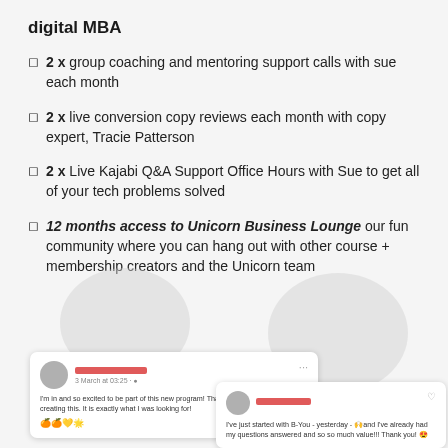digital MBA
2 x group coaching and mentoring support calls with sue each month
2 x live conversion copy reviews each month with copy expert, Tracie Patterson
2 x Live Kajabi Q&A Support Office Hours with Sue to get all of your tech problems solved
12 months access to Unicorn Business Lounge our fun community where you can hang out with other course + membership creators and the Unicorn team
[Figure (screenshot): Two social media comment screenshots. Left card: user avatar, redacted name, date '3 March at 03:25', comment 'I'm in and so excited to be part of this new program! Thanks Sue McLachlan for creating this. It is exactly what I was looking for! 🍊🍊💛🌟'. Right card: user avatar, redacted name, comment 'I've just started with B-You - yesterday - 🙌and I've already had my questions answered and so so much value!!! Thank you! 😍']